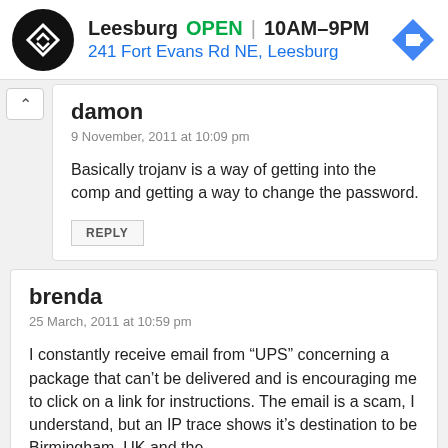[Figure (screenshot): Advertisement banner for a store in Leesburg showing logo, open status, hours, and address]
damon
9 November, 2011 at 10:09 pm
Basically trojanv is a way of getting into the comp and getting a way to change the password.
REPLY
brenda
25 March, 2011 at 10:59 pm
I constantly receive email from “UPS” concerning a package that can’t be delivered and is encouraging me to click on a link for instructions. The email is a scam, I understand, but an IP trace shows it’s destination to be Birmingham, UK and the